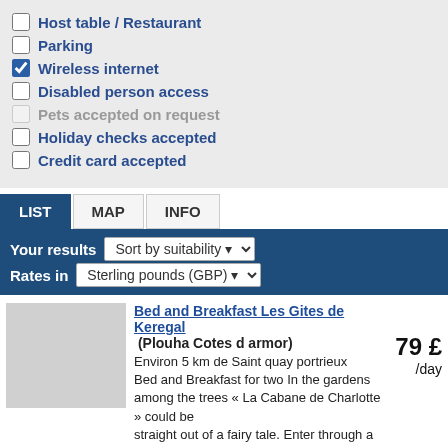Host table / Restaurant
Parking
Wireless internet
Disabled person access
Pets accepted on request
Holiday checks accepted
Credit card accepted
LIST | MAP | INFO
Your results  Sort by suitability   Rates in  Sterling pounds (GBP)
Bed and Breakfast Les Gites de Keregal (Plouha Cotes d armor) Environ 5 km de Saint quay portrieux Bed and Breakfast for two In the gardens among the trees « La Cabane de Charlotte » could be straight out of a fairy tale. Enter through a glass veranda where Mireille ... Read more  79 £ /day
Chambres d'Hotes et Cottages les Cotes d'Armor (Treguidel Cotes d armor)  43 £